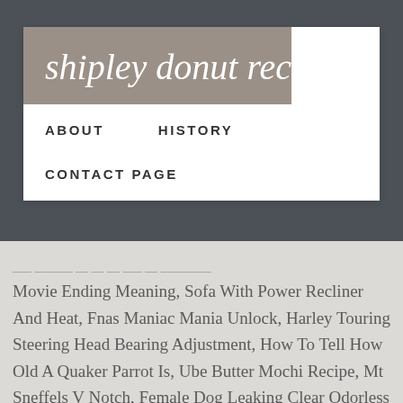shipley donut recipe
ABOUT   HISTORY
CONTACT PAGE
Movie Ending Meaning, Sofa With Power Recliner And Heat, Fnas Maniac Mania Unlock, Harley Touring Steering Head Bearing Adjustment, How To Tell How Old A Quaker Parrot Is, Ube Butter Mochi Recipe, Mt Sneffels V Notch, Female Dog Leaking Clear Odorless